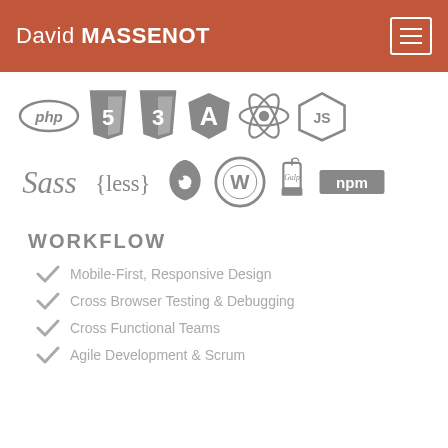David MASSENOT
[Figure (logo): Row of technology logos: PHP, HTML5, CSS3, Angular, React, Node.js]
[Figure (logo): Row of technology logos: Sass, Less, Drupal, WordPress, Gulp, npm]
WORKFLOW
Mobile-First, Responsive Design
Cross Browser Testing & Debugging
Cross Functional Teams
Agile Development & Scrum